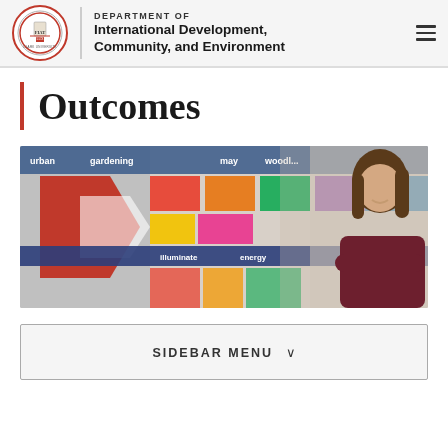DEPARTMENT OF International Development, Community, and Environment
Outcomes
[Figure (photo): A smiling young woman with long brown hair wearing a dark maroon blazer, standing with arms crossed in front of a colorful mural with words like 'illuminate energy']
SIDEBAR MENU